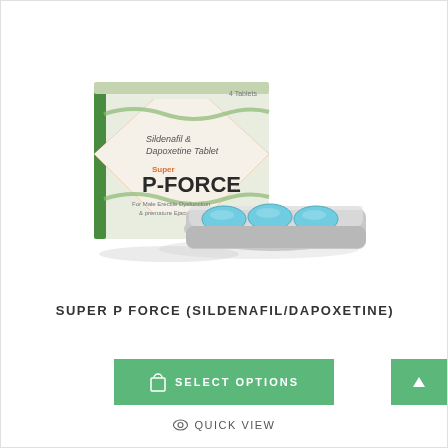[Figure (photo): Product photo of Super P-Force (Sildenafil & Dapoxetine Tablet) box with orange diamond design and green accents, alongside a blister pack containing 4 light blue oval tablets]
SUPER P FORCE (SILDENAFIL/DAPOXETINE)
SELECT OPTIONS
QUICK VIEW